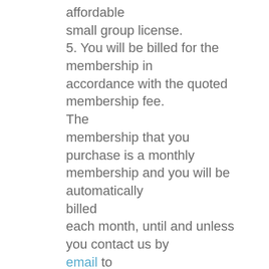affordable small group license.
5. You will be billed for the membership in accordance with the quoted membership fee. The membership that you purchase is a monthly membership and you will be automatically billed each month, until and unless you contact us by email to cancel your membership.
6. You must cancel by three days before your next billing date in order to assure the ability to stop a charge for the following month-long period. Until you terminate your membership, you authorize our billing company to charge your